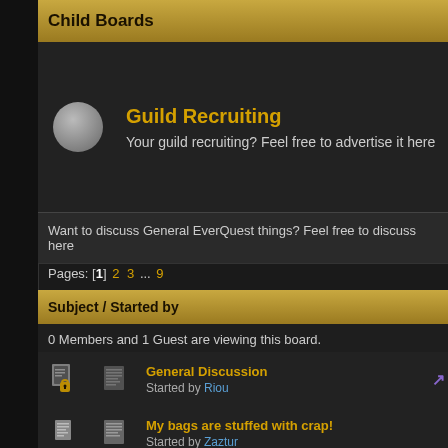Child Boards
Guild Recruiting
Your guild recruiting? Feel free to advertise it here
Want to discuss General EverQuest things? Feel free to discuss here
Pages: [1] 2 3 ... 9
Subject / Started by
0 Members and 1 Guest are viewing this board.
General Discussion
Started by Riou
My bags are stuffed with crap!
Started by Zaztur
YouTube Channels Featuring EQ
Started by Lemony_Headz
streaming beta raid
Started by Randel Flag
aLovingRobot's channel on youtube interviews with the people